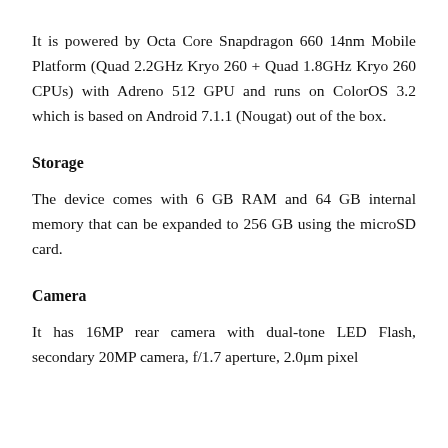It is powered by Octa Core Snapdragon 660 14nm Mobile Platform (Quad 2.2GHz Kryo 260 + Quad 1.8GHz Kryo 260 CPUs) with Adreno 512 GPU and runs on ColorOS 3.2 which is based on Android 7.1.1 (Nougat) out of the box.
Storage
The device comes with 6 GB RAM and 64 GB internal memory that can be expanded to 256 GB using the microSD card.
Camera
It has 16MP rear camera with dual-tone LED Flash, secondary 20MP camera, f/1.7 aperture, 2.0μm pixel